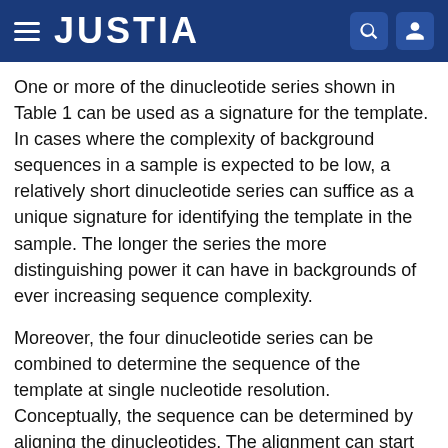JUSTIA
One or more of the dinucleotide series shown in Table 1 can be used as a signature for the template. In cases where the complexity of background sequences in a sample is expected to be low, a relatively short dinucleotide series can suffice as a unique signature for identifying the template in the sample. The longer the series the more distinguishing power it can have in backgrounds of ever increasing sequence complexity.
Moreover, the four dinucleotide series can be combined to determine the sequence of the template at single nucleotide resolution. Conceptually, the sequence can be determined by aligning the dinucleotides. The alignment can start with the first nucleotide, T, as determined from the first examination step (or as otherwise known). The second nucleotide in the sequence is understood to follow T and can thus be